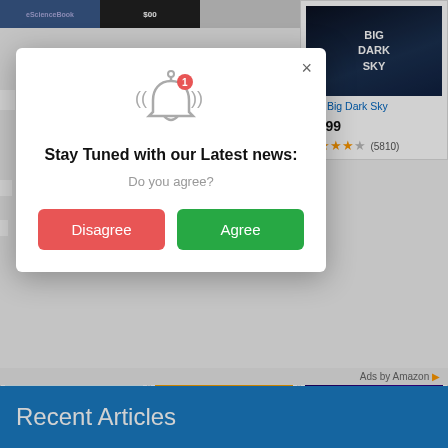[Figure (screenshot): Browser notification popup dialog on an Amazon-like shopping page. Dialog says 'Stay Tuned with our Latest news: Do you agree?' with Disagree and Agree buttons. Background shows book product listings including 'The Big Dark Sky' ($9.99, 5810 reviews), 'Life Science Coloring Book' ($7.99 prime, 1 review), 'Immune: A Journey into the Mysterious Sy...' ($18.65 prime, 5833 reviews), 'Steve Spangler's Super-Cool Science...' ($7.49, was $14.99, prime, 188 reviews). Bottom blue bar shows 'Recent Articles'.]